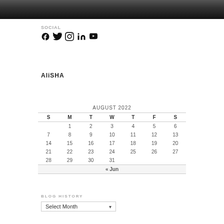[Figure (photo): Black and white photo strip at top of page, appears to show hair or dark textured background]
SOCIAL
[Figure (infographic): Social media icons: Facebook, Twitter, Instagram, LinkedIn, YouTube]
AliSHA
|  | AUGUST 2022 |  |  |  |  |  |
| --- | --- | --- | --- | --- | --- | --- |
| S | M | T | W | T | F | S |
|  | 1 | 2 | 3 | 4 | 5 | 6 |
| 7 | 8 | 9 | 10 | 11 | 12 | 13 |
| 14 | 15 | 16 | 17 | 18 | 19 | 20 |
| 21 | 22 | 23 | 24 | 25 | 26 | 27 |
| 28 | 29 | 30 | 31 |  |  |  |
| « Jun |  |  |  |  |  |  |
BLOG HISTORY
Select Month